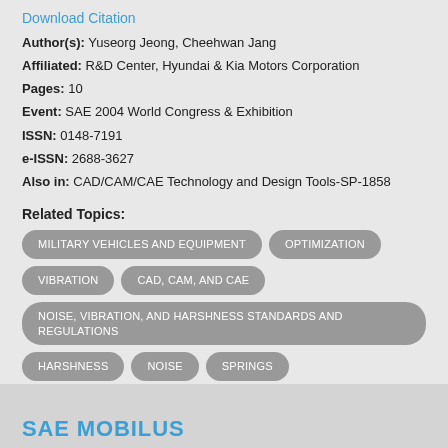Download Citation
Author(s): Yuseorg Jeong, Cheehwan Jang
Affiliated: R&D Center, Hyundai & Kia Motors Corporation
Pages: 10
Event: SAE 2004 World Congress & Exhibition
ISSN: 0148-7191
e-ISSN: 2688-3627
Also in: CAD/CAM/CAE Technology and Design Tools-SP-1858
Related Topics:
MILITARY VEHICLES AND EQUIPMENT
OPTIMIZATION
VIBRATION
CAD, CAM, AND CAE
NOISE, VIBRATION, AND HARSHNESS STANDARDS AND REGULATIONS
HARSHNESS
NOISE
SPRINGS
RAILWAY VEHICLES AND EQUIPMENT
SAE MOBILUS